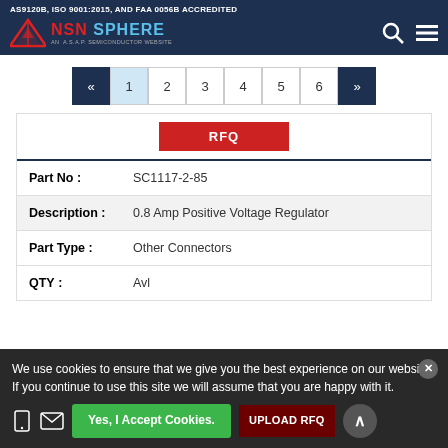AS9120B, ISO 9001:2015, AND FAA 0056B ACCREDITED
[Figure (logo): NSN Sphere logo with red triangle and text 'NSN SPHERE - AN A.S.A.P. SEMICONDUCTOR WEBSITE']
« 1 2 3 4 5 6 »
| Part No : | SC1117-2-85 |
| Description : | 0.8 Amp Positive Voltage Regulator |
| Part Type : | Other Connectors |
| QTY : | Avl |
We use cookies to ensure that we give you the best experience on our website. If you continue to use this site we will assume that you are happy with it.